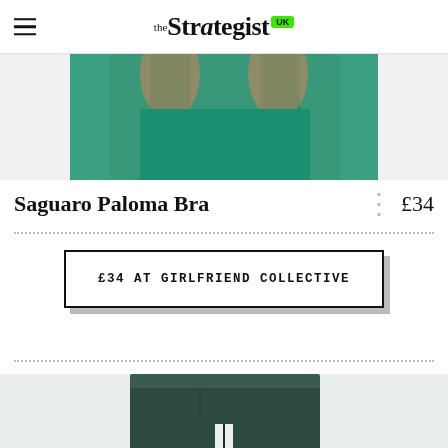the Strategist UK
[Figure (photo): Product photo of a green sports bra, cropped view showing upper torso on model]
Saguaro Paloma Bra
£34
£34 AT GIRLFRIEND COLLECTIVE
[Figure (photo): Product photo of dark green athletic shorts/bike shorts on plain background]